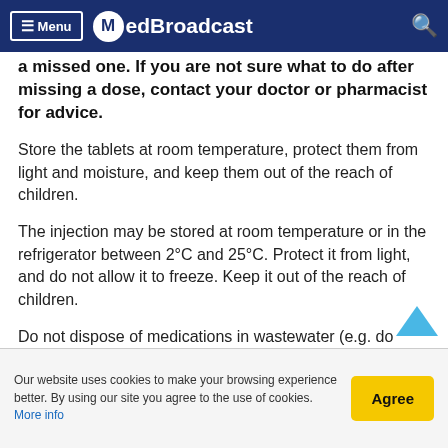Menu  MedBroadcast
...do not take a double dose to make up for a missed one. If you are not sure what to do after missing a dose, contact your doctor or pharmacist for advice.
Store the tablets at room temperature, protect them from light and moisture, and keep them out of the reach of children.
The injection may be stored at room temperature or in the refrigerator between 2°C and 25°C. Protect it from light, and do not allow it to freeze. Keep it out of the reach of children.
Do not dispose of medications in wastewater (e.g. do...
Our website uses cookies to make your browsing experience better. By using our site you agree to the use of cookies. More info  [Agree]